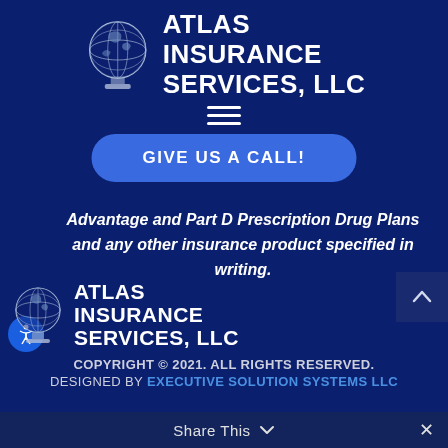[Figure (logo): Atlas Insurance Services LLC logo with globe icon at top — white text on dark blue background]
[Figure (other): Hamburger menu icon (three horizontal lines)]
GIVE US A CALL!
Advantage and Part D Prescription Drug Plans and any other insurance product specified in writing.
[Figure (logo): Atlas Insurance Services LLC logo with globe icon in footer — white text on dark blue background]
COPYRIGHT © 2021. ALL RIGHTS RESERVED. DESIGNED BY EXECUTIVE SOLUTION SYSTEMS LLC
Share This ∨  ✕